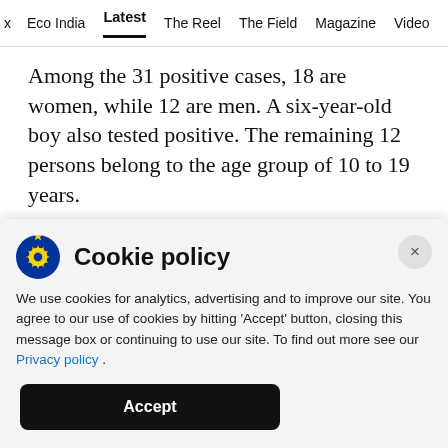x  Eco India  Latest  The Reel  The Field  Magazine  Video
Among the 31 positive cases, 18 are women, while 12 are men. A six-year-old boy also tested positive. The remaining 12 persons belong to the age group of 10 to 19 years.
“While 26 are from the same family, the other five who tested positive live in the same lane in
Cookie policy
We use cookies for analytics, advertising and to improve our site. You agree to our use of cookies by hitting ‘Accept’ button, closing this message box or continuing to use our site. To find out more see our Privacy policy .
Accept